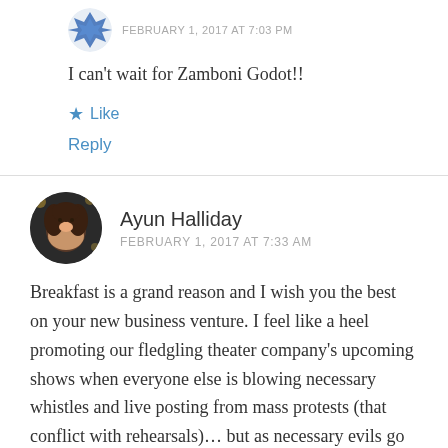[Figure (illustration): Small decorative avatar icon with blue geometric/star pattern, clipped to circle]
FEBRUARY 1, 2017 AT 7:03 PM
I can't wait for Zamboni Godot!!
★ Like
Reply
[Figure (photo): Circular avatar photo of Ayun Halliday, a woman with curly hair smiling, dark background]
Ayun Halliday
FEBRUARY 1, 2017 AT 7:33 AM
Breakfast is a grand reason and I wish you the best on your new business venture. I feel like a heel promoting our fledgling theater company's upcoming shows when everyone else is blowing necessary whistles and live posting from mass protests (that conflict with rehearsals)… but as necessary evils go